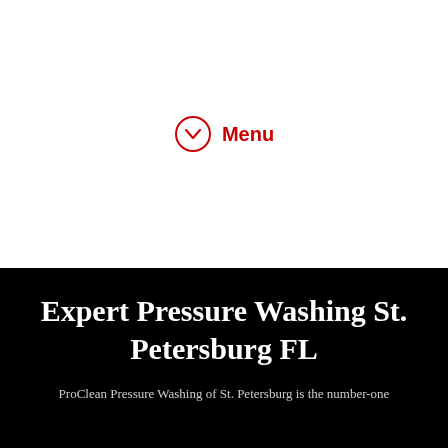[Figure (other): Red circle with downward chevron icon and red bold 'Menu' text label beside it, serving as a navigation menu toggle button on a white background.]
Expert Pressure Washing St. Petersburg FL
ProClean Pressure Washing of St. Petersburg is the number-one